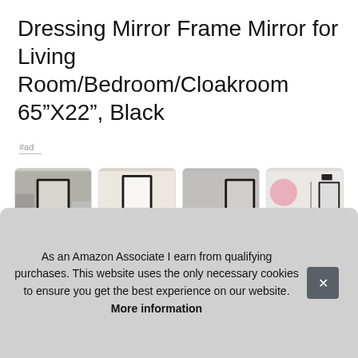Dressing Mirror Frame Mirror for Living Room/Bedroom/Cloakroom 65”X22”, Black
#ad
[Figure (photo): Four product thumbnail images of a black full-length dressing mirror shown in various bedroom/room settings and with dimension diagrams]
ONY
adju
it al:
brac
save space.
As an Amazon Associate I earn from qualifying purchases. This website uses the only necessary cookies to ensure you get the best experience on our website. More information